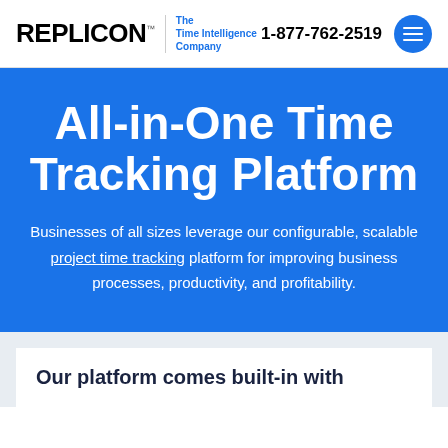REPLICON™ The Time Intelligence Company | 1-877-762-2519
All-in-One Time Tracking Platform
Businesses of all sizes leverage our configurable, scalable project time tracking platform for improving business processes, productivity, and profitability.
Our platform comes built-in with